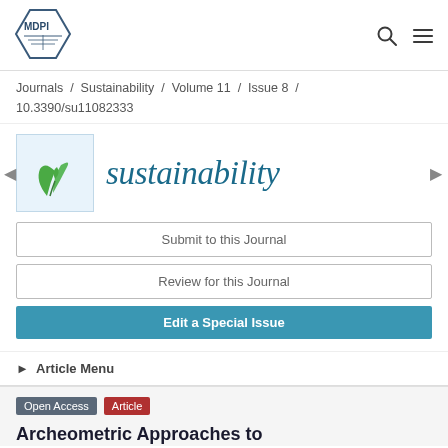[Figure (logo): MDPI logo hexagon with text]
Journals / Sustainability / Volume 11 / Issue 8 / 10.3390/su11082333
[Figure (logo): Sustainability journal logo with green plant leaves icon and italic 'sustainability' text in teal]
Submit to this Journal
Review for this Journal
Edit a Special Issue
▶ Article Menu
Open Access  Article
Archeometric Approaches to